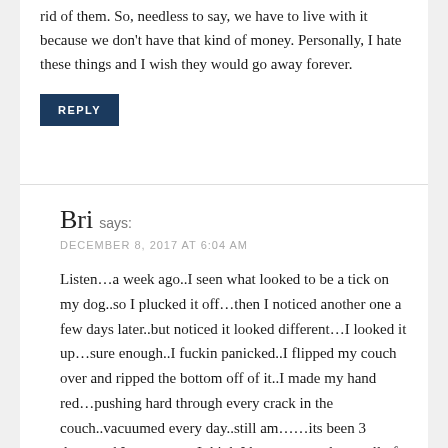rid of them. So, needless to say, we have to live with it because we don't have that kind of money. Personally, I hate these things and I wish they would go away forever.
REPLY
Bri says:
DECEMBER 8, 2017 AT 6:04 AM
Listen…a week ago..I seen what looked to be a tick on my dog..so I plucked it off…then I noticed another one a few days later..but noticed it looked different…I looked it up…sure enough..I fuckin panicked..I flipped my couch over and ripped the bottom off of it..I made my hand red…pushing hard through every crack in the couch..vacuumed every day..still am……its been 3 days..and I must say…I think I have gotten almost all of